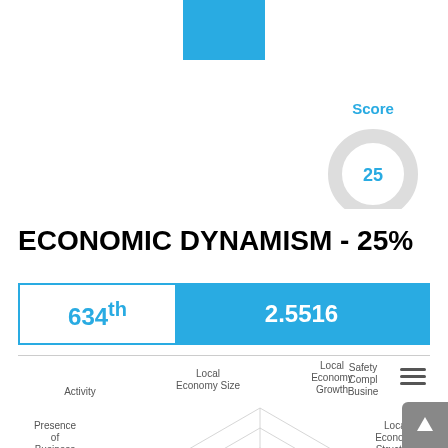[Figure (other): Blue square at top center of page (decorative header element)]
[Figure (donut-chart): Score]
ECONOMIC DYNAMISM - 25%
| Rank | Score |
| --- | --- |
| 634th | 2.5516 |
[Figure (radar-chart): Radar chart showing subcategory dimensions for Economic Dynamism. Data plotted near center indicating low scores across all dimensions.]